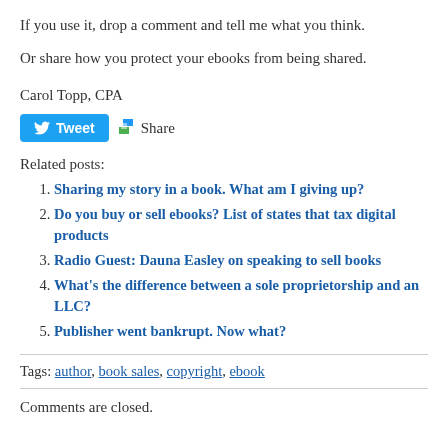If you use it, drop a comment and tell me what you think.
Or share how you protect your ebooks from being shared.
Carol Topp, CPA
[Figure (other): Tweet button and Share button social sharing widgets]
Related posts:
Sharing my story in a book. What am I giving up?
Do you buy or sell ebooks? List of states that tax digital products
Radio Guest: Dauna Easley on speaking to sell books
What's the difference between a sole proprietorship and an LLC?
Publisher went bankrupt. Now what?
Tags: author, book sales, copyright, ebook
Comments are closed.